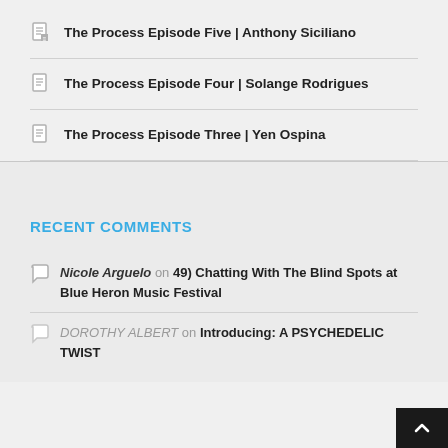The Process Episode Five | Anthony Siciliano
The Process Episode Four | Solange Rodrigues
The Process Episode Three | Yen Ospina
RECENT COMMENTS
Nicole Arguelo on 49) Chatting With The Blind Spots at Blue Heron Music Festival
DOROTHY ALBERT on Introducing: A PSYCHEDELIC TWIST